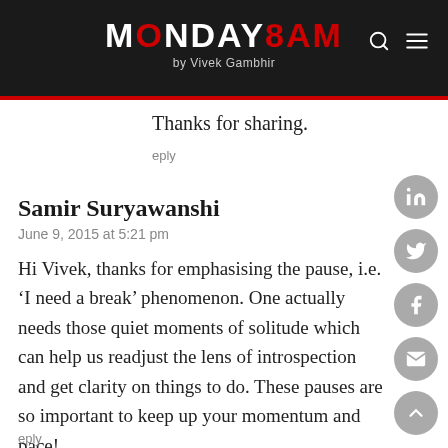MONDAY8AM by Vivek Gambhir
Thanks for sharing.
eply
Samir Suryawanshi
June 9, 2015 at 5:21 pm
Hi Vivek, thanks for emphasising the pause, i.e. ‘I need a break’ phenomenon. One actually needs those quiet moments of solitude which can help us readjust the lens of introspection and get clarity on things to do. These pauses are so important to keep up your momentum and pace!
eply